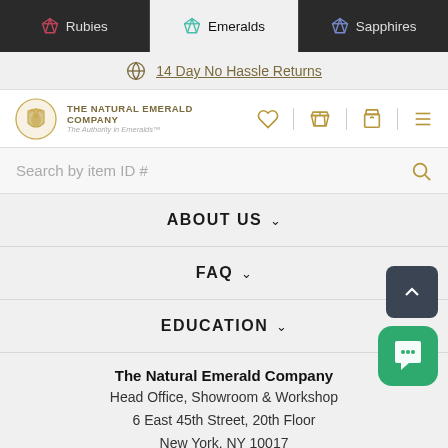Rubies | Emeralds | Sapphires
14 Day No Hassle Returns
[Figure (logo): The Natural Emerald Company logo with golden crest emblem and text: THE NATURAL EMERALD COMPANY - The Authority in Emeralds™]
Search by item ID #
ABOUT US
FAQ
EDUCATION
The Natural Emerald Company
Head Office, Showroom & Workshop
6 East 45th Street, 20th Floor
New York, NY 10017
United States